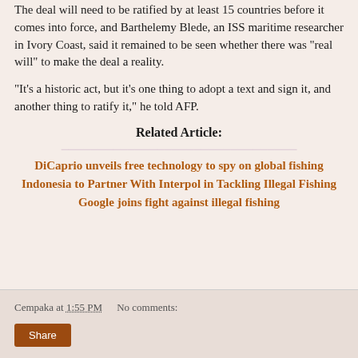The deal will need to be ratified by at least 15 countries before it comes into force, and Barthelemy Blede, an ISS maritime researcher in Ivory Coast, said it remained to be seen whether there was "real will" to make the deal a reality.
"It's a historic act, but it's one thing to adopt a text and sign it, and another thing to ratify it," he told AFP.
Related Article:
DiCaprio unveils free technology to spy on global fishing
Indonesia to Partner With Interpol in Tackling Illegal Fishing
Google joins fight against illegal fishing
Cempaka at 1:55 PM    No comments:    Share